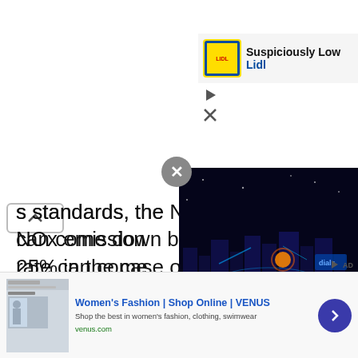[Figure (screenshot): Lidl advertisement banner with yellow logo and 'Suspiciously Low' tagline]
standards, the NOx emission rate can come down by approximately 25% in the case of petrol engines and 70% in the case of diesel engines. The cancer-causing particulate matter emissions from the diesel engines will also come down by 80%.
[Figure (screenshot): Video advertisement overlay showing futuristic city scene with blue neon lights]
What Are T
[Figure (screenshot): Women's Fashion VENUS shop online advertisement banner at bottom of page]